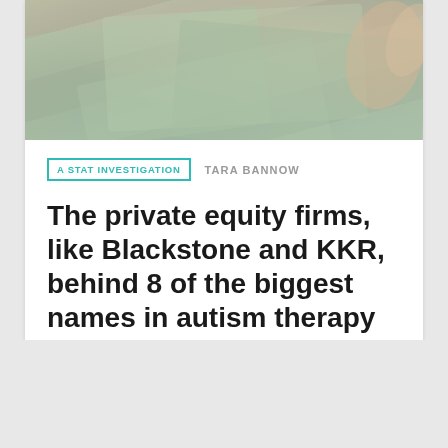[Figure (photo): Blurred photo of hands holding paper currency / money bills, soft focus green and beige tones]
A STAT INVESTIGATION   TARA BANNOW
The private equity firms, like Blackstone and KKR, behind 8 of the biggest names in autism therapy